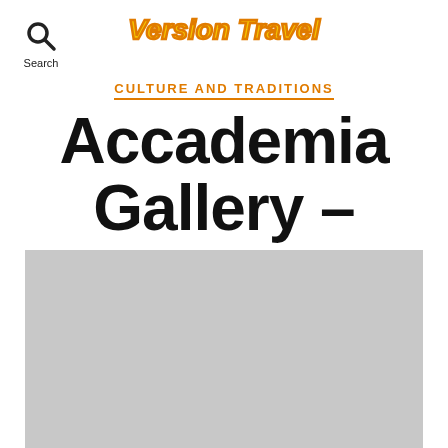Version Travel
CULTURE AND TRADITIONS
Accademia Gallery – Venice
[Figure (photo): Gray placeholder image representing a photo of Accademia Gallery in Venice]